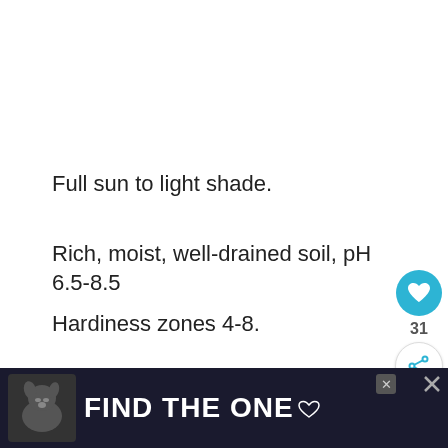Full sun to light shade.
Rich, moist, well-drained soil, pH 6.5-8.5
Hardiness zones 4-8.
Water when rainfall less than an inch a week.
Most varieties are blue and many of them look like bells, but there are also star shaped...
[Figure (other): Advertisement banner at bottom: dark background with dog image and text FIND THE ONE with heart icon. Partially visible text behind ad.]